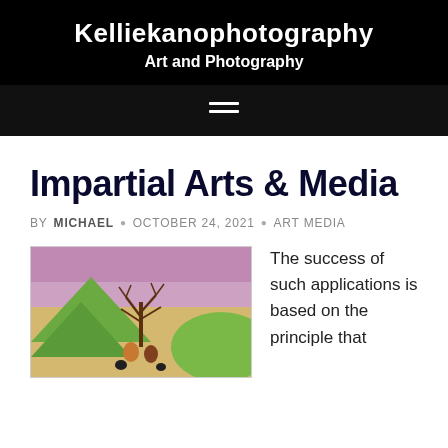Kelliekanophotography
Art and Photography
Impartial Arts & Media
BY MICHAEL · OCTOBER 24, 2021 · ART MEDIA
[Figure (photo): Artwork showing a colorful mixed-media piece with green mountain shapes, pink/purple sky, and a brown tree-like structure with birds or figures at the base.]
The success of such applications is based on the principle that